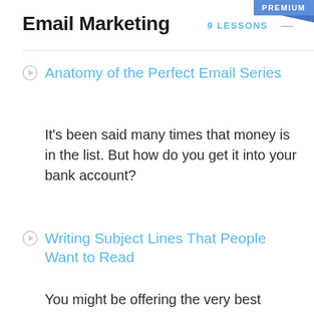PREMIUM
Email Marketing
9 LESSONS —
Anatomy of the Perfect Email Series
It's been said many times that money is in the list. But how do you get it into your bank account?
Writing Subject Lines That People Want to Read
You might be offering the very best